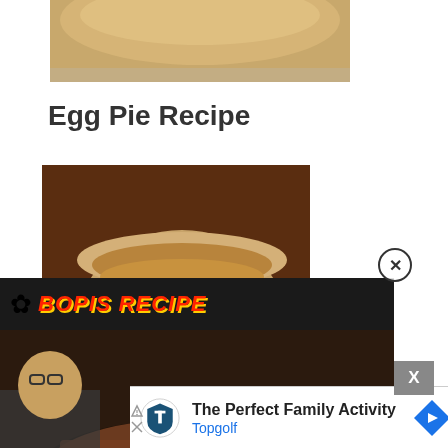[Figure (photo): Top portion of an egg pie or pastry, golden crust visible, partially cropped]
Egg Pie Recipe
[Figure (photo): A bowl of creamy brown soup or egg pie filling in a ceramic bowl, dark reddish-brown background]
[Figure (screenshot): Video overlay showing Bopis Recipe title in red italic text with sunflower icon, food dish with person in apron, play button in center]
[Figure (screenshot): Advertisement for Topgolf: The Perfect Family Activity, with Topgolf logo and blue arrow navigation icon]